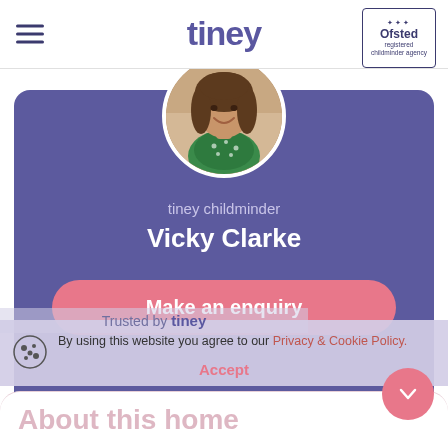tiney
[Figure (photo): Tiney childminder profile page screenshot showing header with tiney logo and Ofsted registered childminder agency badge, a profile photo of Vicky Clarke (woman smiling with brown hair, wearing green floral top), a purple profile card with tiney childminder label, name Vicky Clarke, and a pink Make an enquiry button, a cookie consent banner, Trusted by tiney overlay text, Accept button, scroll down arrow button, and About this home section heading at the bottom.]
tiney childminder
Vicky Clarke
Make an enquiry
By using this website you agree to our Privacy & Cookie Policy.
Trusted by tiney
Accept
About this home